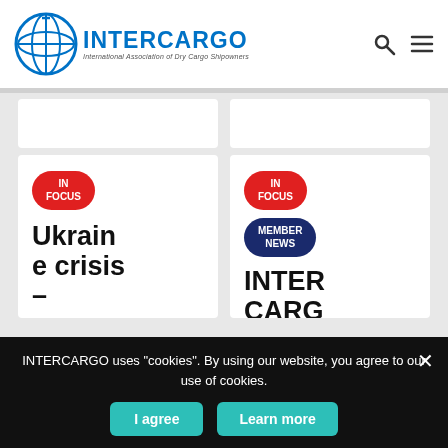INTERCARGO - International Association of Dry Cargo Shipowners
[Figure (screenshot): Two news article cards with IN FOCUS and MEMBER NEWS badges. Left card: 'Ukraine crisis – agreement...' dated July 28. Right card: 'INTERCARGO...' dated July 20, with IN FOCUS and MEMBER NEWS badges.]
INTERCARGO uses "cookies". By using our website, you agree to our use of cookies.